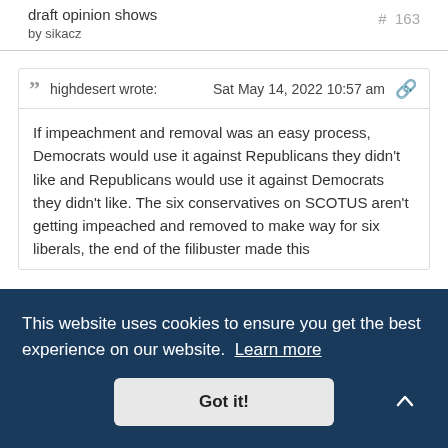draft opinion shows
by sikacz
# 163
highdesert wrote:	Sat May 14, 2022 10:57 am
If impeachment and removal was an easy process, Democrats would use it against Republicans they didn't like and Republicans would use it against Democrats they didn't like. The six conservatives on SCOTUS aren't getting impeached and removed to make way for six liberals, the end of the filibuster made this
out of our political divisiveness and grid lock is to bring back the
This website uses cookies to ensure you get the best experience on our website. Learn more
Got it!